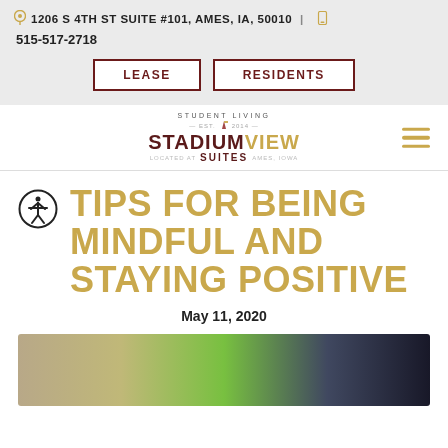1206 S 4TH ST SUITE #101, AMES, IA, 50010  |  515-517-2718
[Figure (logo): Stadium View Suites student living logo with hamburger menu icon]
TIPS FOR BEING MINDFUL AND STAYING POSITIVE
May 11, 2020
[Figure (photo): Blurred photo of people, partially visible at bottom of page]